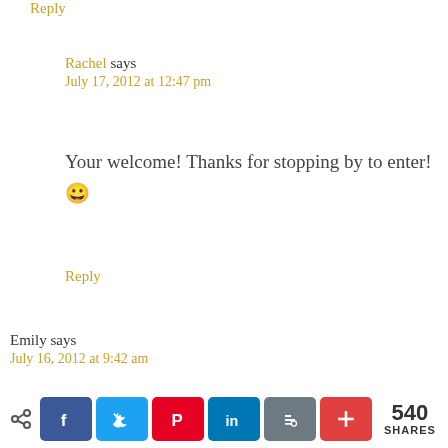Reply
Rachel says
July 17, 2012 at 12:47 pm
Your welcome! Thanks for stopping by to enter! 😀
Reply
Emily says
July 16, 2012 at 9:42 am
Christmas Day!
540 SHARES [Facebook, Twitter, Pinterest, LinkedIn, Blogger, More share buttons]